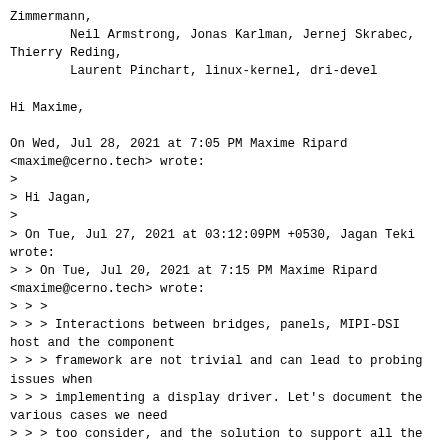Zimmermann,
        Neil Armstrong, Jonas Karlman, Jernej Skrabec, Thierry Reding,
        Laurent Pinchart, linux-kernel, dri-devel

Hi Maxime,

On Wed, Jul 28, 2021 at 7:05 PM Maxime Ripard
<maxime@cerno.tech> wrote:
>
> Hi Jagan,
>
> On Tue, Jul 27, 2021 at 03:12:09PM +0530, Jagan Teki wrote:
> > On Tue, Jul 20, 2021 at 7:15 PM Maxime Ripard
<maxime@cerno.tech> wrote:
> > >
> > > Interactions between bridges, panels, MIPI-DSI host and the component
> > > framework are not trivial and can lead to probing issues when
> > > implementing a display driver. Let's document the various cases we need
> > > too consider, and the solution to support all the cases.
> > >
> > > Signed-off-by: Maxime Ripard <maxime@cerno.tech>
> > > ---
> > >  Documentation/gpu/drm-kms-helpers.rst |  6 +++
> > >  drivers/gpu/drm/drm_bridge.c          | 60
+++++++++++++++++++++++